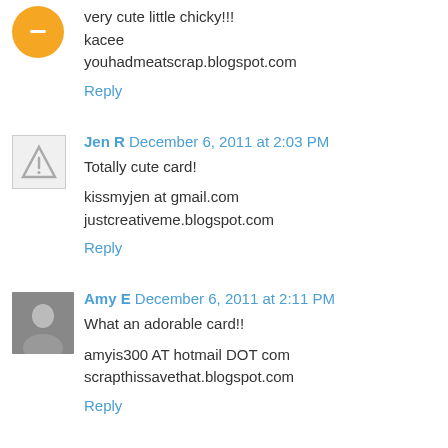[Figure (illustration): Orange circle avatar with minus icon (Blogger default avatar)]
very cute little chicky!!!
kacee
youhadmeatscrap.blogspot.com
Reply
[Figure (illustration): Warning triangle avatar (Blogger default avatar)]
Jen R December 6, 2011 at 2:03 PM
Totally cute card!

kissmyjen at gmail.com
justcreativeme.blogspot.com
Reply
[Figure (photo): Small photo of Amy E, a woman]
Amy E December 6, 2011 at 2:11 PM
What an adorable card!!

amyis300 AT hotmail DOT com
scrapthissavethat.blogspot.com
Reply